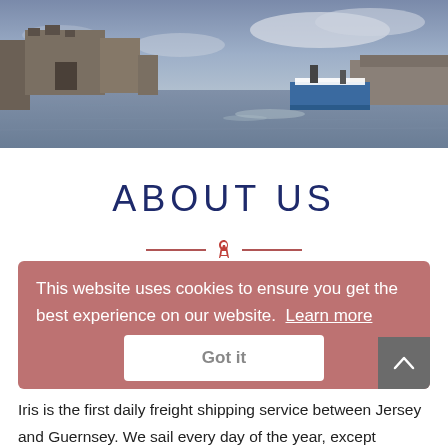[Figure (photo): Harbor scene at dusk with a blue and white freight boat on grey water, stone pier/castle structure on the left, cloudy sky in background.]
ABOUT US
This website uses cookies to ensure you get the best experience on our website. Learn more
Got it
Iris is the first daily freight shipping service between Jersey and Guernsey. We sail every day of the year, except